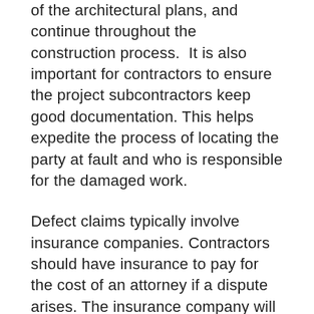of the architectural plans, and continue throughout the construction process.  It is also important for contractors to ensure the project subcontractors keep good documentation. This helps expedite the process of locating the party at fault and who is responsible for the damaged work.
Defect claims typically involve insurance companies. Contractors should have insurance to pay for the cost of an attorney if a dispute arises. The insurance company will defend the contractor against defect claims.
Resolving disputes